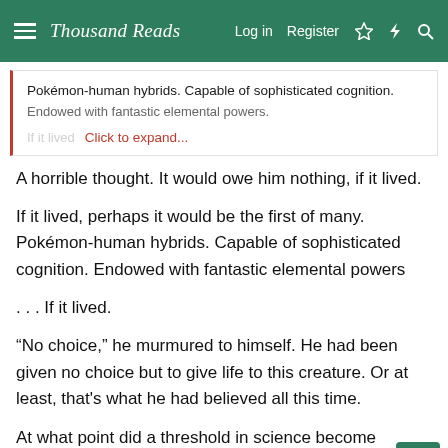Thousand Roads — Log in   Register
Pokémon-human hybrids. Capable of sophisticated cognition. Endowed with fantastic elemental powers. [Click to expand...]
A horrible thought. It would owe him nothing, if it lived.
If it lived, perhaps it would be the first of many. Pokémon-human hybrids. Capable of sophisticated cognition. Endowed with fantastic elemental powers
. . . If it lived.
“No choice,” he murmured to himself. He had been given no choice but to give life to this creature. Or at least, that’s what he had believed all this time.
At what point did a threshold in science become inevitable, however terrible? When it was first conceived of? When it was no longer theoretical, but a practical possibility? Perhaps only